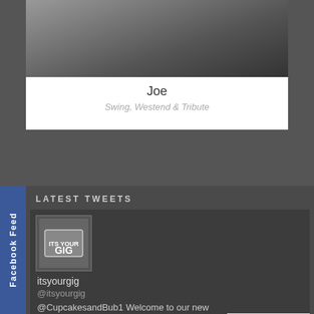[Figure (photo): Profile card with name Joe and subtitle Swing, Westend & Tribute]
Joe
Swing, Westend & Tribute
LATEST TWEETS
[Figure (logo): itsyourgig logo - a ticket/gig logo]
itsyourgig
@itsyourgig
@CupcakesandBub1 Welcome to our new Twitter page come and join us #champagne #prosecco #CupCakes #afternoontea... https://t.co/zvce469i